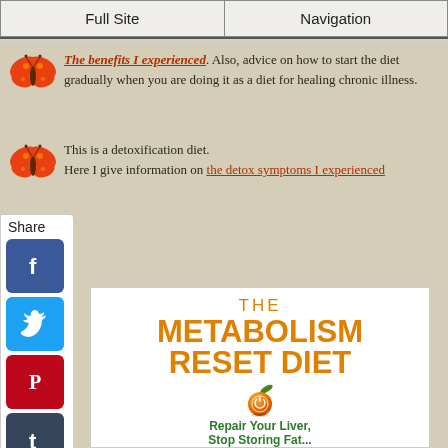Full Site | Navigation
The benefits I experienced. Also, advice on how to start the diet gradually when you are doing it as a diet for healing chronic illness.
This is a detoxification diet. Here I give information on the detox symptoms I experienced
[Figure (screenshot): Social media share buttons sidebar: Facebook, Twitter, Pinterest, Tumblr, Reddit, WhatsApp]
[Figure (photo): Book cover: The Metabolism Reset Diet with orange power button illustration. Subtitle: Repair Your Liver, Stop Storing Fat]